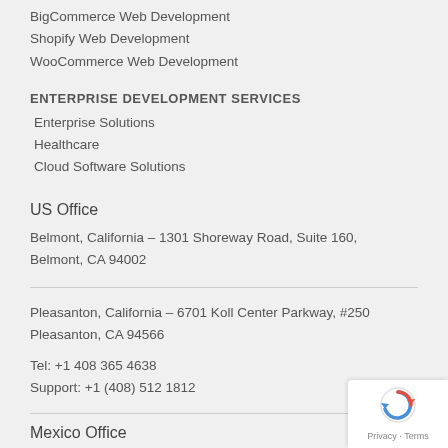BigCommerce Web Development
Shopify Web Development
WooCommerce Web Development
ENTERPRISE DEVELOPMENT SERVICES
Enterprise Solutions
Healthcare
Cloud Software Solutions
US Office
Belmont, California – 1301 Shoreway Road, Suite 160, Belmont, CA 94002
Pleasanton, California – 6701 Koll Center Parkway, #250 Pleasanton, CA 94566
Tel: +1 408 365 4638
Support: +1 (408) 512 1812
Mexico Office
Amado Nervo #2200, Edificio Esfera 1 piso 4, Col. Jardines